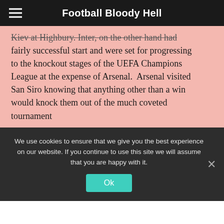Football Bloody Hell
Kiev at Highbury. Inter, on the other hand had fairly successful start and were set for progressing to the knockout stages of the UEFA Champions League at the expense of Arsenal.  Arsenal visited San Siro knowing that anything other than a win would knock them out of the much coveted tournament
THE STARTING LINE UPS
Arsenal came into the game with a fair share of
We use cookies to ensure that we give you the best experience on our website. If you continue to use this site we will assume that you are happy with it.